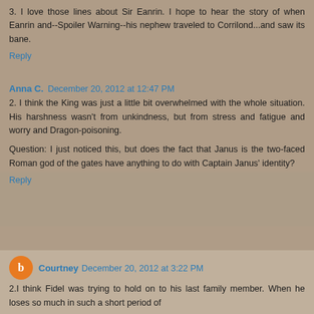3. I love those lines about Sir Eanrin. I hope to hear the story of when Eanrin and--Spoiler Warning--his nephew traveled to Corrilond...and saw its bane.
Reply
Anna C.  December 20, 2012 at 12:47 PM
2. I think the King was just a little bit overwhelmed with the whole situation. His harshness wasn't from unkindness, but from stress and fatigue and worry and Dragon-poisoning.
Question: I just noticed this, but does the fact that Janus is the two-faced Roman god of the gates have anything to do with Captain Janus' identity?
Reply
Courtney  December 20, 2012 at 3:22 PM
2.I think Fidel was trying to hold on to his last family member. When he loses so much in such a short period of